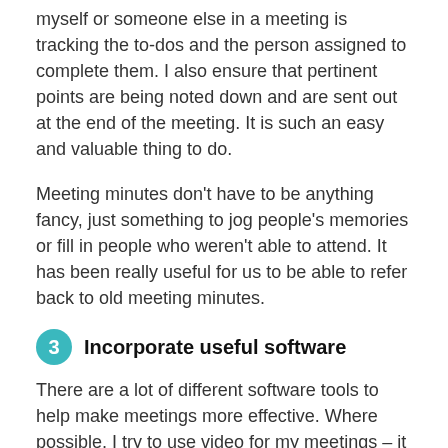myself or someone else in a meeting is tracking the to-dos and the person assigned to complete them. I also ensure that pertinent points are being noted down and are sent out at the end of the meeting. It is such an easy and valuable thing to do.
Meeting minutes don't have to be anything fancy, just something to jog people's memories or fill in people who weren't able to attend. It has been really useful for us to be able to refer back to old meeting minutes.
3  Incorporate useful software
There are a lot of different software tools to help make meetings more effective. Where possible, I try to use video for my meetings – it works better than calls because you can pick-up on crucial non-verbal communication. We use Sqwiggle for team meetings and Skype or Google Hangouts for meetings with